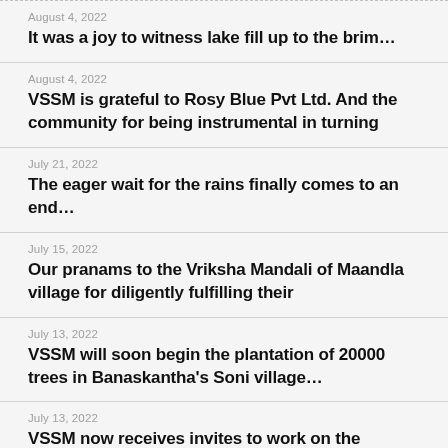August 4, 2022
It was a joy to witness lake fill up to the brim…
August 4, 2022
VSSM is grateful to Rosy Blue Pvt Ltd. And the community for being instrumental in turning
July 21, 2022
The eager wait for the rains finally comes to an end…
July 15, 2022
Our pranams to the Vriksha Mandali of Maandla village for diligently fulfilling their
July 13, 2022
VSSM will soon begin the plantation of 20000 trees in Banaskantha's Soni village…
July 13, 2022
VSSM now receives invites to work on the deepening of lakes with acceptance of all the